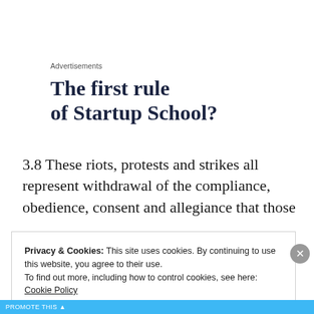Advertisements
The first rule of Startup School?
3.8 These riots, protests and strikes all represent withdrawal of the compliance, obedience, consent and allegiance that those
Privacy & Cookies: This site uses cookies. By continuing to use this website, you agree to their use.
To find out more, including how to control cookies, see here:
Cookie Policy
Close and accept